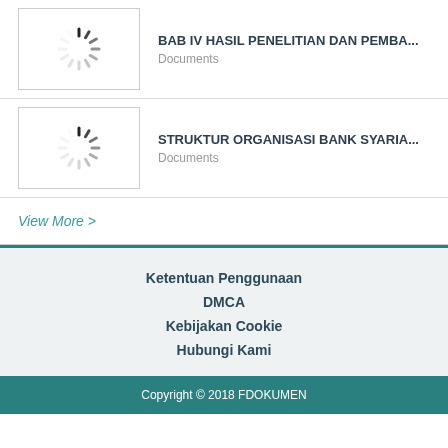[Figure (other): Document thumbnail with loading spinner]
BAB IV HASIL PENELITIAN DAN PEMBA...
Documents
[Figure (other): Document thumbnail with loading spinner]
STRUKTUR ORGANISASI BANK SYARIA...
Documents
View More >
Ketentuan Penggunaan
DMCA
Kebijakan Cookie
Hubungi Kami
Copyright © 2018 FDOKUMEN